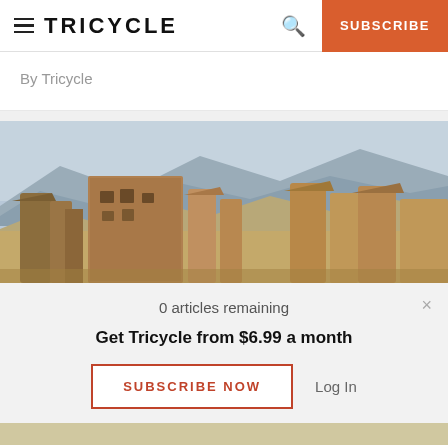≡ TRICYCLE   🔍   SUBSCRIBE
By Tricycle
[Figure (photo): Desert landscape with tall eroded sandstone rock formations and mountains in the background under a hazy sky.]
0 articles remaining
Get Tricycle from $6.99 a month
SUBSCRIBE NOW
Log In